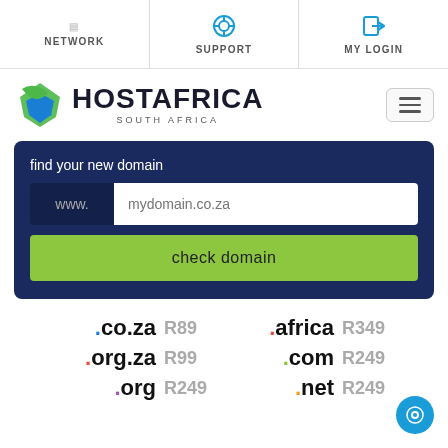NETWORK | SUPPORT | MY LOGIN
[Figure (logo): HostAfrica South Africa logo with green/blue Africa map icon]
find your new domain
www. | mydomain.co.za | check domain
.co.za R89 .africa R349 .org.za R99 .com R249 .org R249 .net R249